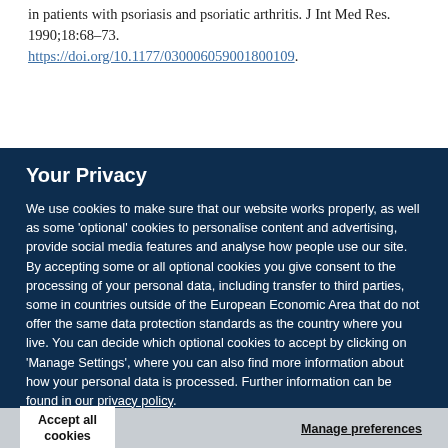in patients with psoriasis and psoriatic arthritis. J Int Med Res. 1990;18:68–73. https://doi.org/10.1177/030006059001800109.
Your Privacy
We use cookies to make sure that our website works properly, as well as some 'optional' cookies to personalise content and advertising, provide social media features and analyse how people use our site. By accepting some or all optional cookies you give consent to the processing of your personal data, including transfer to third parties, some in countries outside of the European Economic Area that do not offer the same data protection standards as the country where you live. You can decide which optional cookies to accept by clicking on 'Manage Settings', where you can also find more information about how your personal data is processed. Further information can be found in our privacy policy.
Accept all cookies
Manage preferences